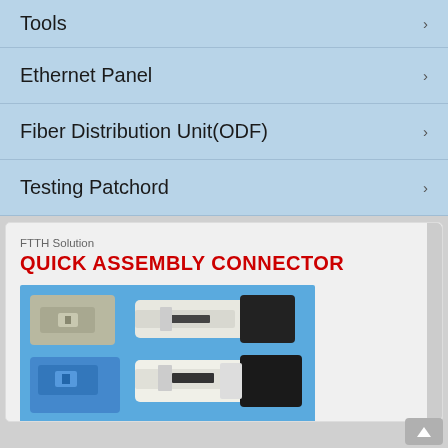Tools
Ethernet Panel
Fiber Distribution Unit(ODF)
Testing Patchord
FTTH Solution
QUICK ASSEMBLY CONNECTOR
[Figure (photo): Photo of quick assembly fiber optic connectors: top row shows a grey SC connector body and an assembled white SC/APC fast connector with black cap; middle row shows a blue SC connector body and a white assembled SC fast connector with black cap; bottom row partially visible shows a green connector body and another fast connector assembly, all displayed on a blue background.]